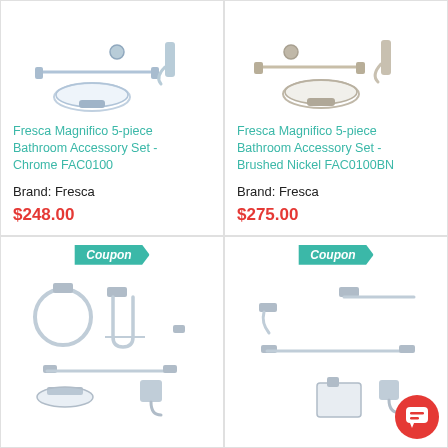[Figure (photo): Product photo of Fresca Magnifico 5-piece Bathroom Accessory Set in Chrome - shows towel bar, hook, and soap dish]
Fresca Magnifico 5-piece Bathroom Accessory Set - Chrome FAC0100
Brand: Fresca
$248.00
[Figure (photo): Product photo of Fresca Magnifico 5-piece Bathroom Accessory Set in Brushed Nickel - shows similar accessories in brushed nickel finish]
Fresca Magnifico 5-piece Bathroom Accessory Set - Brushed Nickel FAC0100BN
Brand: Fresca
$275.00
[Figure (photo): Product photo showing chrome bathroom accessory set with towel ring, toilet paper holder, towel bar, soap dish, and robe hook]
Coupon
[Figure (photo): Product photo showing chrome bathroom accessory set with towel bar, towel ring, soap dispenser, and robe hook]
Coupon